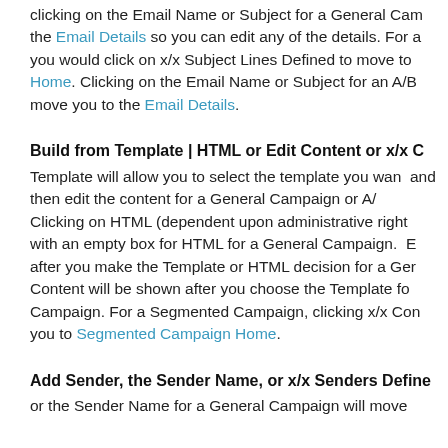clicking on the Email Name or Subject for a General Campaign will move you to the Email Details so you can edit any of the details. For a General Campaign you would click on x/x Subject Lines Defined to move to Home. Clicking on the Email Name or Subject for an A/B Campaign will move you to the Email Details.
Build from Template | HTML or Edit Content or x/x Content
Template will allow you to select the template you want and then edit the content for a General Campaign or A/B. Clicking on HTML (dependent upon administrative rights) with an empty box for HTML for a General Campaign. Edit after you make the Template or HTML decision for a General. Content will be shown after you choose the Template for a Campaign. For a Segmented Campaign, clicking x/x Content will move you to Segmented Campaign Home.
Add Sender, the Sender Name, or x/x Senders Defined
or the Sender Name for a General Campaign will move